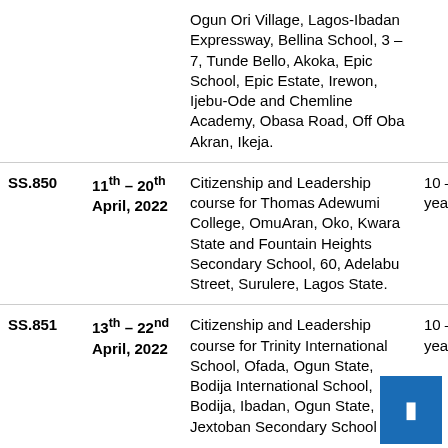|  | Date | Activity | Age |
| --- | --- | --- | --- |
|  |  | Ogun Ori Village, Lagos-Ibadan Expressway, Bellina School, 3 – 7, Tunde Bello, Akoka, Epic School, Epic Estate, Irewon, Ijebu-Ode and Chemline Academy, Obasa Road, Off Oba Akran, Ikeja. |  |
| SS.850 | 11th – 20th April, 2022 | Citizenship and Leadership course for Thomas Adewumi College, OmuAran, Oko, Kwara State and Fountain Heights Secondary School, 60, Adelabu Street, Surulere, Lagos State. | 10 – 18 years |
| SS.851 | 13th – 22nd April, 2022 | Citizenship and Leadership course for Trinity International School, Ofada, Ogun State, Bodija International School, Bodija, Ibadan, Ogun State, Jextoban Secondary School | 10 – 18 year |